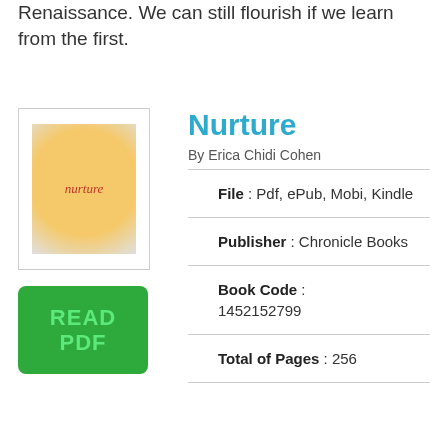Renaissance. We can still flourish if we learn from the first.
Nurture
By Erica Chidi Cohen
File : Pdf, ePub, Mobi, Kindle
Publisher : Chronicle Books
Book Code : 1452152799
Total of Pages : 256
[Figure (illustration): Book cover for Nurture by Erica Chidi Cohen, showing a circular golden/orange illustration on white background with red italic title text.]
[Figure (other): Green READ PDF button with teal/mint colored text]